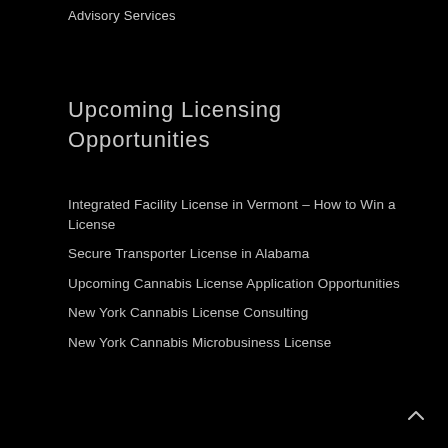Advisory Services
Upcoming Licensing Opportunities
Integrated Facility License in Vermont – How to Win a License
Secure Transporter License in Alabama
Upcoming Cannabis License Application Opportunities
New York Cannabis License Consulting
New York Cannabis Microbusiness License